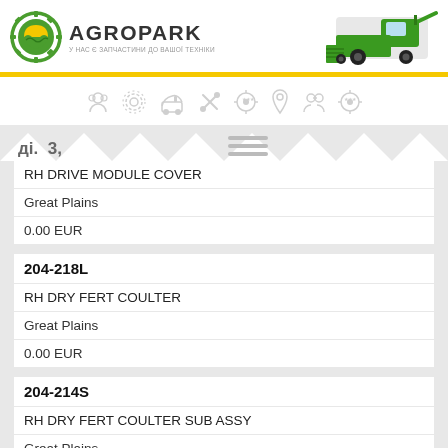[Figure (logo): Agropark logo with gear/sun/field icon and green combine harvester photo on right]
[Figure (infographic): Navigation icon bar with grey icons: globe/users, settings/gear, tractor, wrench/tools, star-target, location pin, group/users, star-target]
RH DRIVE MODULE COVER
Great Plains
0.00 EUR
204-218L
RH DRY FERT COULTER
Great Plains
0.00 EUR
204-214S
RH DRY FERT COULTER SUB ASSY
Great Plains
0.00 EUR